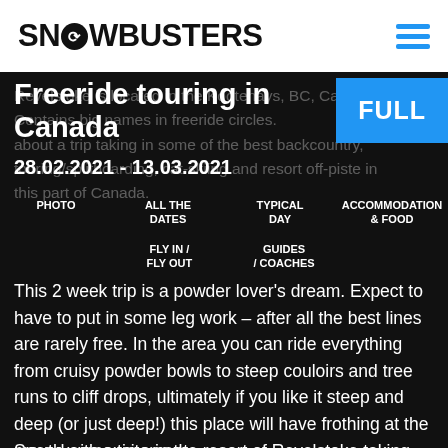SNOWBUSTERS
Freeride touring in Canada
28.02.2021 - 13.03.2021
Revelstoke is located in the Kootenays, BC, Canada. Contains big names in freeride circles. about a trip taking in some of the best backcountry, touring/splitboarding, cat-skiing and resort off-piste in this part of Canada.
FULL
PHOTO
ALL THE DATES
TYPICAL DAY
ACCOMMODATION & FOOD
FLY IN / FLY OUT
GUIDES / COACHES
This 2 week trip is a powder lover's dream. Expect to have to put in some leg work – after all the best lines are rarely free. In the area you can ride everything from cruisy powder bowls to steep couloirs and tree runs to cliff drops, ultimately if you like it steep and deep (or just deep!) this place will have frothing at the mouth with excitement.
Spend some time in the resort of Revelstoke taking